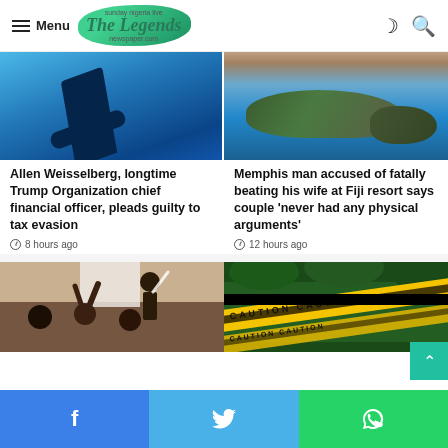Menu | The Legends [logo]
[Figure (photo): Blue-tinted silhouette of a gavel against a blue background]
Allen Weisselberg, longtime Trump Organization chief financial officer, pleads guilty to tax evasion
8 hours ago
[Figure (photo): Aerial view of tropical island in Fiji with turquoise sea at sunset]
Memphis man accused of fatally beating his wife at Fiji resort says couple 'never had any physical arguments'
12 hours ago
[Figure (photo): Classroom scene with students raising hands and a teacher at the board]
[Figure (photo): Yellow caution tape in a green forested outdoor area reading CAUTION]